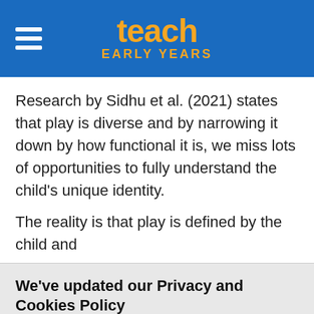teach EARLY YEARS
Research by Sidhu et al. (2021) states that play is diverse and by narrowing it down by how functional it is, we miss lots of opportunities to fully understand the child's unique identity.
The reality is that play is defined by the child and
We've updated our Privacy and Cookies Policy
This website and carefully selected third parties use cookies on this site to improve performance, for analytics and for advertising. By browsing this site you are agreeing to this.
For more information see our Privacy and Cookie policy.
✓ OK